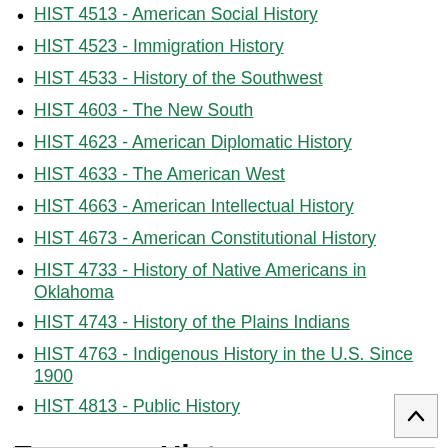HIST 4513 - American Social History
HIST 4523 - Immigration History
HIST 4533 - History of the Southwest
HIST 4603 - The New South
HIST 4623 - American Diplomatic History
HIST 4633 - The American West
HIST 4663 - American Intellectual History
HIST 4673 - American Constitutional History
HIST 4733 - History of Native Americans in Oklahoma
HIST 4743 - History of the Plains Indians
HIST 4763 - Indigenous History in the U.S. Since 1900
HIST 4813 - Public History
European History Advanced Electives - 6 hours